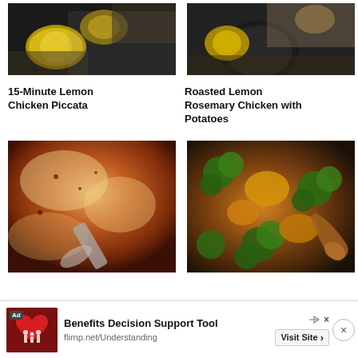[Figure (photo): Top-down photo of lemon chicken piccata dish with lemons on dark background]
[Figure (photo): Top-down photo of roasted lemon rosemary chicken with potatoes in dark skillet]
15-Minute Lemon Chicken Piccata
Roasted Lemon Rosemary Chicken with Potatoes
[Figure (photo): Close-up of baked parmesan chicken thighs with melted cheese, being served with spatula]
[Figure (photo): Chicken and broccoli stir fry in dark skillet with wooden spoon]
Ad  Benefits Decision Support Tool  flirnp.net/Understanding  Visit Site